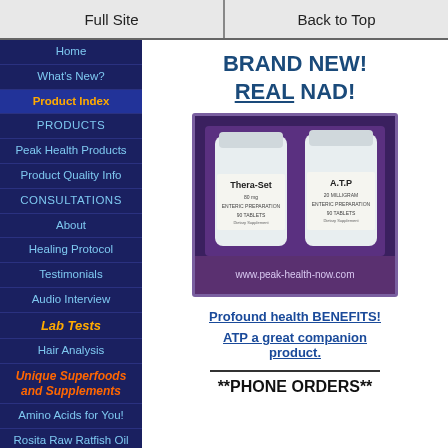Full Site | Back to Top
Home
What's New?
Product Index
PRODUCTS
Peak Health Products
Product Quality Info
CONSULTATIONS
About
Healing Protocol
Testimonials
Audio Interview
Lab Tests
Hair Analysis
Unique Superfoods and Supplements
Amino Acids for You!
Rosita Raw Ratfish Oil
BRAND NEW! REAL NAD!
[Figure (photo): Two white supplement bottles labeled Thera-Set and A.T.P on a purple background with text www.peak-health-now.com]
Profound health BENEFITS!
ATP a great companion product.
**PHONE ORDERS**